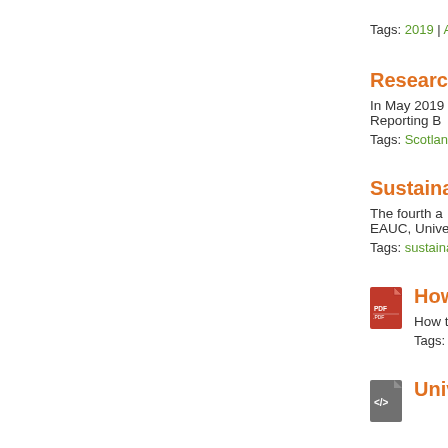Tags: 2019 | AU
Research
In May 2019 Reporting B
Tags: Scotland
Sustainab
The fourth a EAUC, Unive
Tags: sustaina
[Figure (other): PDF file icon]
How to re
How to repo
Tags: SDG | SD
[Figure (other): Code/HTML file icon]
University